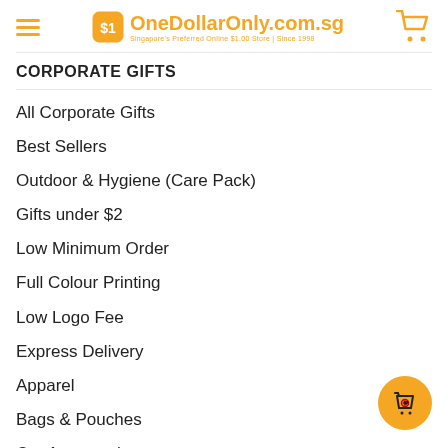OneDollarOnly.com.sg — Singapore's Preferred Online $1.00 Store | Since 1998
CORPORATE GIFTS
All Corporate Gifts
Best Sellers
Outdoor & Hygiene (Care Pack)
Gifts under $2
Low Minimum Order
Full Colour Printing
Low Logo Fee
Express Delivery
Apparel
Bags & Pouches
Car Accessories
Dollar Collections
Drinkware
Electronic & IT Gadgets